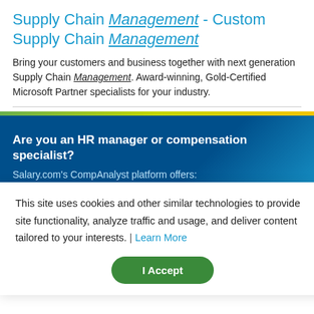Supply Chain Management - Custom Supply Chain Management
Bring your customers and business together with next generation Supply Chain Management. Award-winning, Gold-Certified Microsoft Partner specialists for your industry.
Are you an HR manager or compensation specialist?
Salary.com's CompAnalyst platform offers:
Detailed skills and competency reports for specific positions
This site uses cookies and other similar technologies to provide site functionality, analyze traffic and usage, and deliver content tailored to your interests. | Learn More
I Accept